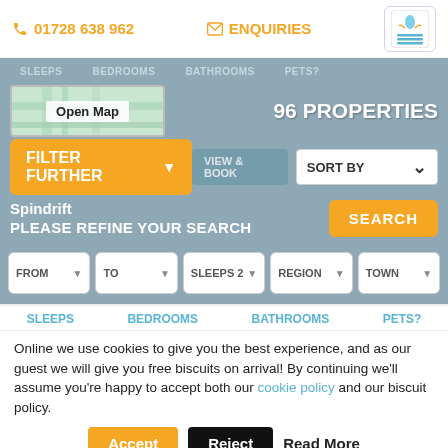01728 638 962 | ENQUIRIES
96 PROPERTIES
[Figure (screenshot): Open Map thumbnail with map background]
FILTER FURTHER
SORT BY
Spindrift
PLEASE REFINE YOUR SEARCH
SEARCH
FROM | TO | SLEEPS 2 | REGION | TOWN
SLEEPS | BEDROOMS | BATHROOMS | PETS?
Online we use cookies to give you the best experience, and as our guest we will give you free biscuits on arrival! By continuing we'll assume you're happy to accept both our cookie policy and our biscuit policy.
Accept | Reject | Read More